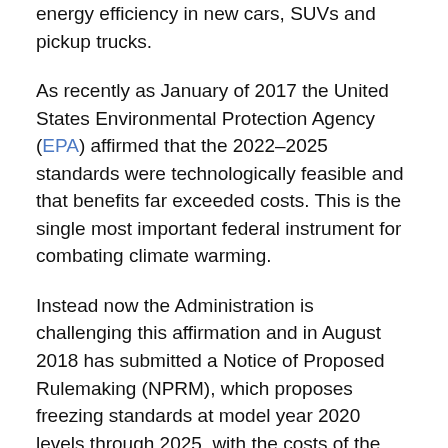energy efficiency in new cars, SUVs and pickup trucks.
As recently as January of 2017 the United States Environmental Protection Agency (EPA) affirmed that the 2022–2025 standards were technologically feasible and that benefits far exceeded costs. This is the single most important federal instrument for combating climate warming.
Instead now the Administration is challenging this affirmation and in August 2018 has submitted a Notice of Proposed Rulemaking (NPRM), which proposes freezing standards at model year 2020 levels through 2025, with the costs of the original requirements now estimated to exceed benefits (Federal Register, 2018).
An important recent study reported in Science by a prestigious team of eleven experts at UC Berkeley, MIT, Carnegie Mellon, Yale and other universities concludes that "the 2018 analysis has fundamental flaws and inconsistences, is at odds with basic economic theory and